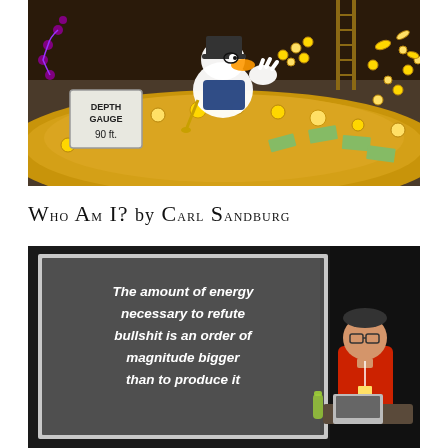[Figure (illustration): Illustration of a cartoon duck (resembling Scrooge McDuck) swimming/diving in a vault of gold coins and money. A 'DEPTH GAUGE 90 ft.' sign is visible in the lower left.]
Who Am I? by Carl Sandburg
[Figure (photo): Photograph of a presenter in a red shirt standing at a podium with a laptop, in front of a projection screen that reads: 'The amount of energy necessary to refute bullshit is an order of magnitude bigger than to produce it']